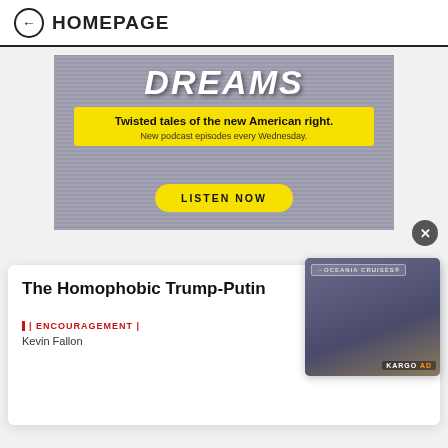← HOMEPAGE
[Figure (other): Advertisement banner with TV static noise background. Text reads: DREAMS. Twisted tales of the new American right. New podcast episodes every Wednesday. LISTEN NOW button.]
The Homophobic Trump-Putin
| ENCOURAGEMENT |
Kevin Fallon
[Figure (screenshot): Video thumbnail showing two men at a balcony. Oceania Cruises logo visible. KARGO AD label.]